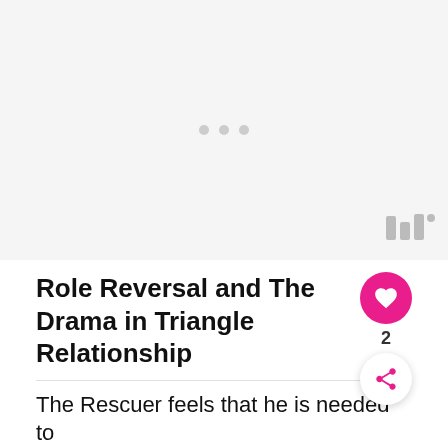[Figure (other): Gray placeholder advertisement area with three small gray dots centered, and a watermark icon in the bottom-right corner]
Role Reversal and The Drama in Triangle Relationship
The Rescuer feels that he is needed to
[Figure (other): Bottom advertisement banner showing Mexican restaurant logo with In-store shopping, Curbside pickup, Delivery options and a blue navigation arrow icon, with a close X button]